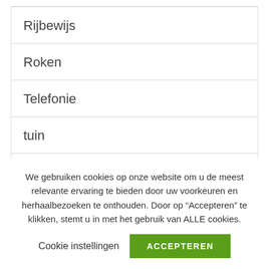Rijbewijs
Roken
Telefonie
tuin
We gebruiken cookies op onze website om u de meest relevante ervaring te bieden door uw voorkeuren en herhaalbezoeken te onthouden. Door op “Accepteren” te klikken, stemt u in met het gebruik van ALLE cookies.
Cookie instellingen
ACCEPTEREN